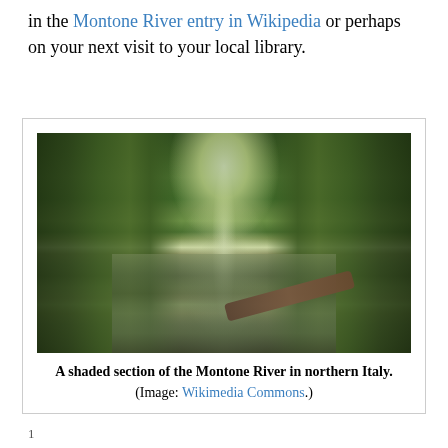in the Montone River entry in Wikipedia or perhaps on your next visit to your local library.
[Figure (photo): A shaded river scene showing the Montone River in northern Italy, with tall trees lining both sides forming a canopy, calm greenish-brown water reflecting light, and fallen logs visible near the bank.]
A shaded section of the Montone River in northern Italy. (Image: Wikimedia Commons.)
1